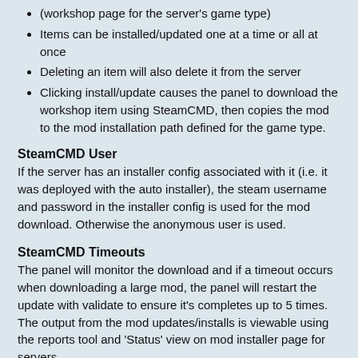(workshop page for the server's game type)
Items can be installed/updated one at a time or all at once
Deleting an item will also delete it from the server
Clicking install/update causes the panel to download the workshop item using SteamCMD, then copies the mod to the mod installation path defined for the game type.
SteamCMD User
If the server has an installer config associated with it (i.e. it was deployed with the auto installer), the steam username and password in the installer config is used for the mod download. Otherwise the anonymous user is used.
SteamCMD Timeouts
The panel will monitor the download and if a timeout occurs when downloading a large mod, the panel will restart the update with validate to ensure it's completes up to 5 times. The output from the mod updates/installs is viewable using the reports tool and 'Status' view on mod installer page for servers.
Workshop save location
Workshop items are saved to the server definition's Cache folder, with workshop appended. I.e. C:\ugcc\cache\workshop\steamapps\workshop\content\<app_id>\<mod_id>. This will speed up subsequent runs for other servers and